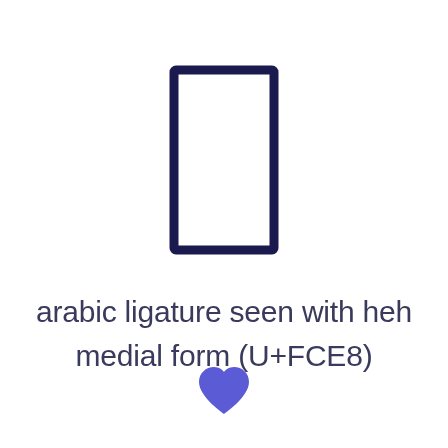[Figure (illustration): A tall narrow rectangle outline (portrait orientation) drawn with a thick dark navy border, representing the Arabic ligature seen with heh medial form character (U+FCE8) glyph displayed in a box.]
arabic ligature seen with heh medial form (U+FCE8)
[Figure (illustration): A filled blue/indigo heart icon centered at the bottom of the page.]